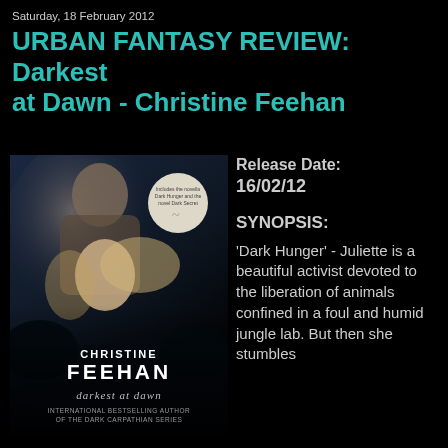Saturday, 18 February 2012
URBAN FANTASY REVIEW: Darkest at Dawn - Christine Feehan
[Figure (photo): Book cover of 'Darkest at Dawn' by Christine Feehan, showing a man and woman with windswept hair against a dark background, with the author's name and book title displayed prominently. A circular badge reads 'Includes the novella Dark Hunger and the novel Dark Secret'. Bottom text reads 'International Bestselling Author of the Dark Carpathian Series'.]
Release Date:
16/02/12
SYNOPSIS:
'Dark Hunger' - Juliette is a beautiful activist devoted to the liberation of animals confined in a foul and humid jungle lab. But then she stumbles